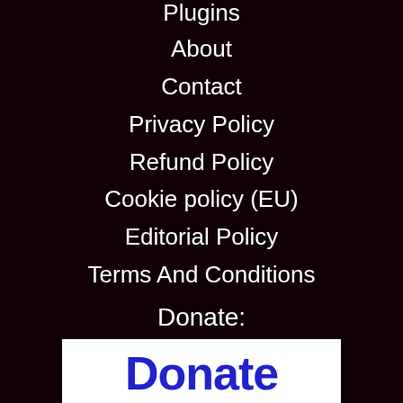Plugins
About
Contact
Privacy Policy
Refund Policy
Cookie policy (EU)
Editorial Policy
Terms And Conditions
Donate:
[Figure (logo): PayPal Donate button showing 'Donate' in blue bold text and a yellow coin/currency icon below]